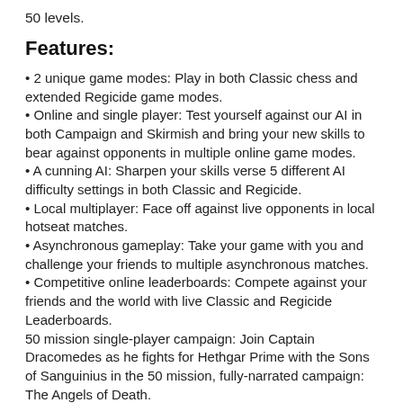50 levels.
Features:
2 unique game modes: Play in both Classic chess and extended Regicide game modes.
Online and single player: Test yourself against our AI in both Campaign and Skirmish and bring your new skills to bear against opponents in multiple online game modes.
A cunning AI: Sharpen your skills verse 5 different AI difficulty settings in both Classic and Regicide.
Local multiplayer: Face off against live opponents in local hotseat matches.
Asynchronous gameplay: Take your game with you and challenge your friends to multiple asynchronous matches.
Competitive online leaderboards: Compete against your friends and the world with live Classic and Regicide Leaderboards.
50 mission single-player campaign: Join Captain Dracomedes as he fights for Hethgar Prime with the Sons of Sanguinius in the 50 mission, fully-narrated campaign: The Angels of Death.